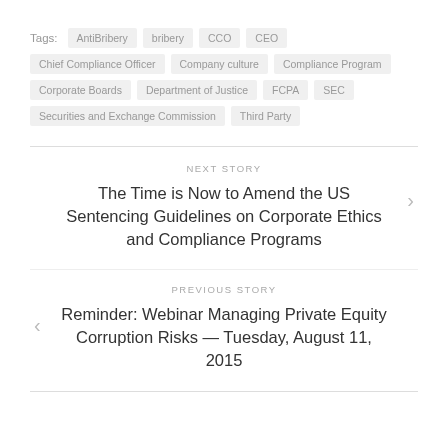Tags: AntiBribery  bribery  CCO  CEO  Chief Compliance Officer  Company culture  Compliance Program  Corporate Boards  Department of Justice  FCPA  SEC  Securities and Exchange Commission  Third Party
NEXT STORY
The Time is Now to Amend the US Sentencing Guidelines on Corporate Ethics and Compliance Programs
PREVIOUS STORY
Reminder: Webinar Managing Private Equity Corruption Risks — Tuesday, August 11, 2015